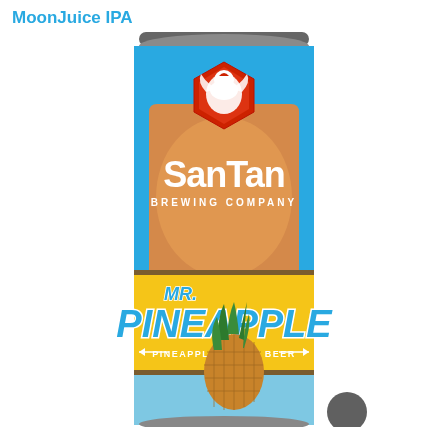MoonJuice IPA
[Figure (photo): SanTan Brewing Company Mr. Pineapple Pineapple Wheat Beer can. The can is sky blue with a yellow/orange label section. At the top is a red phoenix logo badge. The center label reads 'SanTan Brewing Company' in large white letters on an orange/tan background. The bottom section features 'MR. PINEAPPLE' in large stylized blue and white letters on a yellow background, with 'PINEAPPLE WHEAT BEER' in white text beneath, and an illustration of a pineapple.]